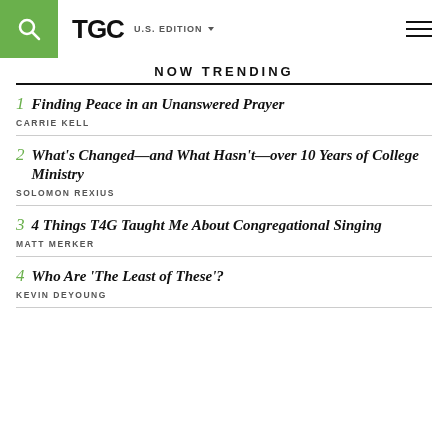TGC | U.S. EDITION
NOW TRENDING
1 Finding Peace in an Unanswered Prayer — CARRIE KELL
2 What's Changed—and What Hasn't—over 10 Years of College Ministry — SOLOMON REXIUS
3 4 Things T4G Taught Me About Congregational Singing — MATT MERKER
4 Who Are 'The Least of These'? — KEVIN DEYOUNG